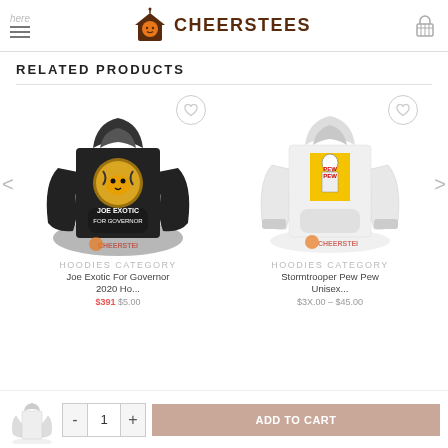here — CHEERSTEES (logo) — cart icon
RELATED PRODUCTS
[Figure (photo): Black hoodie with Joe Exotic For Governor tiger graphic and CHEERSTEES watermark]
[Figure (photo): White hoodie with Stormtrooper Pew Pew graphic and CHEERSTEES watermark]
HOODIES CATEGORY
Joe Exotic For Governor 2020 Hoodie
$391 $5.00
HOODIES CATEGORY
Stormtrooper Pew Pew Unisex
$3X.00 - $45.00
[Figure (photo): Small thumbnail of hoodie product in bottom bar]
- 1 + ADD TO CART